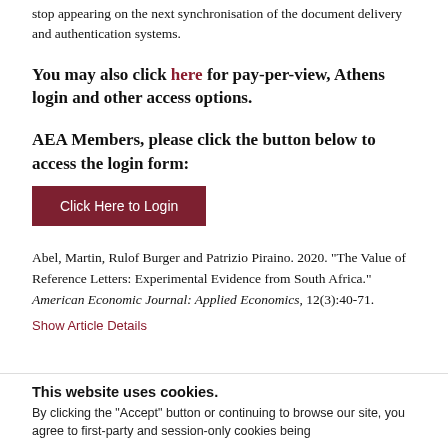stop appearing on the next synchronisation of the document delivery and authentication systems.
You may also click here for pay-per-view, Athens login and other access options.
AEA Members, please click the button below to access the login form:
Click Here to Login
Abel, Martin, Rulof Burger and Patrizio Piraino. 2020. "The Value of Reference Letters: Experimental Evidence from South Africa." American Economic Journal: Applied Economics, 12(3):40-71.
Show Article Details
This website uses cookies.
By clicking the "Accept" button or continuing to browse our site, you agree to first-party and session-only cookies being